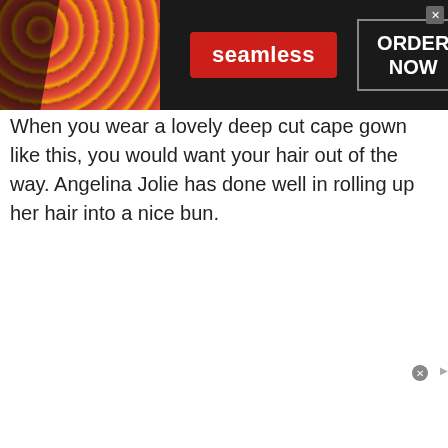[Figure (screenshot): Seamless food delivery advertisement banner with pizza image on left, red 'seamless' button in center, 'ORDER NOW' box on right, dark background]
When you wear a lovely deep cut cape gown like this, you would want your hair out of the way. Angelina Jolie has done well in rolling up her hair into a nice bun.
[Figure (photo): Photo of Angelina Jolie with hair up in a bun against green foliage background, with a red 'NEXT →' button overlay and 'Trending For You Today' bar at bottom]
[Figure (screenshot): Advertisement for Best Prostate Treatment Method from healthreport4u.com with medical diagram image on left and blue circle arrow button on right]